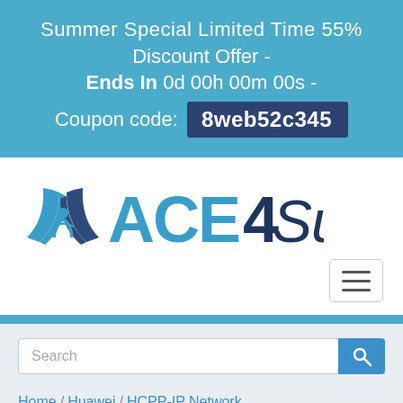Summer Special Limited Time 55% Discount Offer - Ends In 0d 00h 00m 00s - Coupon code: 8web52c345
[Figure (logo): ACE4Sure company logo with book icon in blue and dark navy lettering]
[Figure (other): Hamburger menu button with three horizontal lines]
Search
Home / Huawei / HCPP-IP Network / H19-330 - HCPP-IP Network Exam